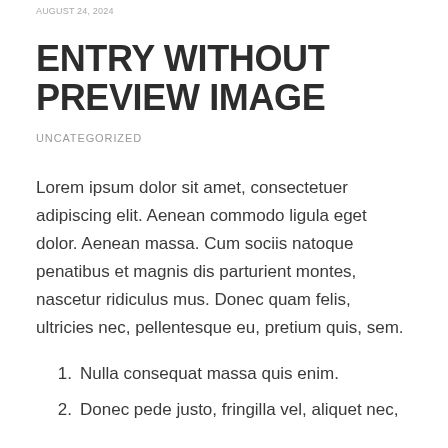AUGUST 24, 2024
ENTRY WITHOUT PREVIEW IMAGE
UNCATEGORIZED
Lorem ipsum dolor sit amet, consectetuer adipiscing elit. Aenean commodo ligula eget dolor. Aenean massa. Cum sociis natoque penatibus et magnis dis parturient montes, nascetur ridiculus mus. Donec quam felis, ultricies nec, pellentesque eu, pretium quis, sem.
Nulla consequat massa quis enim.
Donec pede justo, fringilla vel, aliquet nec,